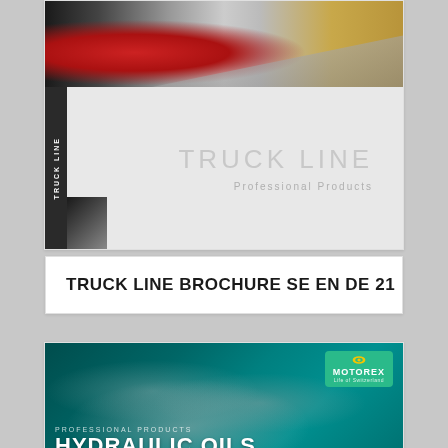[Figure (photo): Truck Line brochure cover showing a red car on a winding road. Below the photo is a light grey panel with vertical black sidebar reading 'TRUCK LINE', a small cover thumbnail on the left, large grey text 'TRUCK LINE' and subtitle 'Professional Products' aligned to the right.]
TRUCK LINE BROCHURE SE EN DE 21
[Figure (photo): Motorex Hydraulic Oils brochure cover with teal/green background showing metallic hydraulic pipes/fittings. Motorex logo badge in upper right. Text reads 'PROFESSIONAL PRODUCTS' and 'HYDRAULIC OILS' in large bold white letters.]